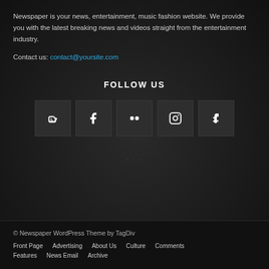Newspaper is your news, entertainment, music fashion website. We provide you with the latest breaking news and videos straight from the entertainment industry.
Contact us: contact@yoursite.com
FOLLOW US
[Figure (other): Row of 5 social media icon buttons: Blogger, Facebook, Flickr, Instagram, VK]
© Newspaper WordPress Theme by TagDiv
Front Page
Advertising
About Us
Culture
Comments
Features
News Email
Archive